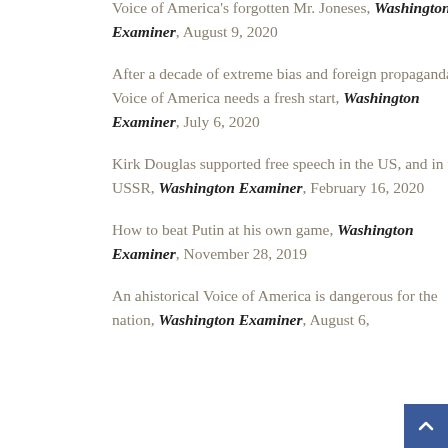Voice of America's forgotten Mr. Joneses, Washington Examiner, August 9, 2020
After a decade of extreme bias and foreign propaganda, Voice of America needs a fresh start, Washington Examiner, July 6, 2020
Kirk Douglas supported free speech in the US, and in the USSR, Washington Examiner, February 16, 2020
How to beat Putin at his own game, Washington Examiner, November 28, 2019
An ahistorical Voice of America is dangerous for the nation, Washington Examiner, August 6,